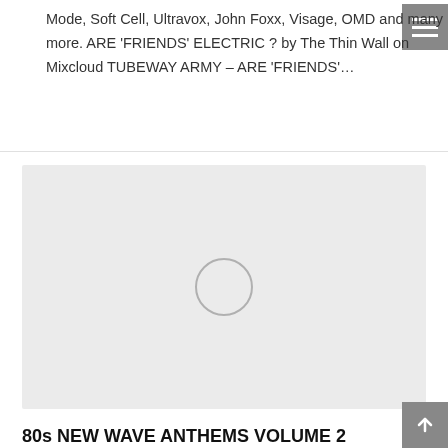Mode, Soft Cell, Ultravox, John Foxx, Visage, OMD and many more. ARE 'FRIENDS' ELECTRIC ? by The Thin Wall on Mixcloud TUBEWAY ARMY – ARE 'FRIENDS'...
[Figure (other): A large light gray media player placeholder box with a circular loading/play indicator in the center]
80s NEW WAVE ANTHEMS VOLUME 2